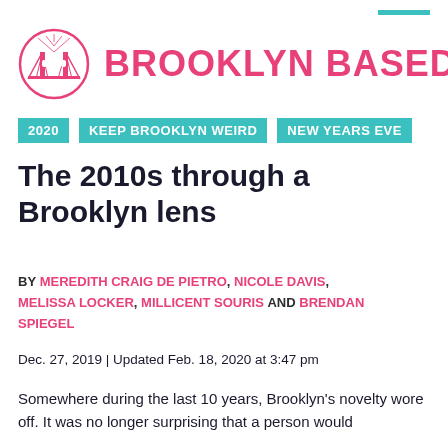[Figure (logo): Brooklyn Based logo: pink Brooklyn Bridge illustration inside a circle with crosshatch pattern, next to the text BROOKLYN BASED in pink bold letters]
2020 | KEEP BROOKLYN WEIRD | NEW YEARS EVE
The 2010s through a Brooklyn lens
BY MEREDITH CRAIG DE PIETRO, NICOLE DAVIS, MELISSA LOCKER, MILLICENT SOURIS AND BRENDAN SPIEGEL
Dec. 27, 2019 | Updated Feb. 18, 2020 at 3:47 pm
Somewhere during the last 10 years, Brooklyn's novelty wore off. It was no longer surprising that a person would